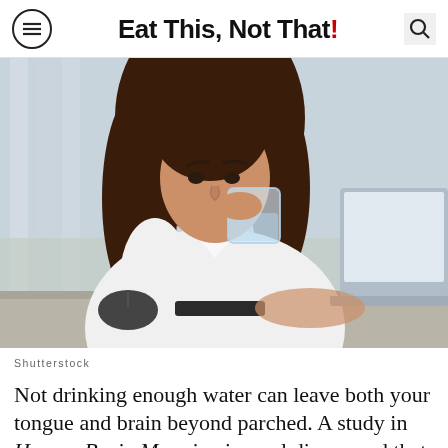Eat This, Not That!
[Figure (photo): A woman in a white shirt drinking a glass of water while sitting at a desk with a laptop, mouse, and phone visible]
Shutterstock
Not drinking enough water can leave both your tongue and brain beyond parched. A study in Human Brain Mapping journal discovered that